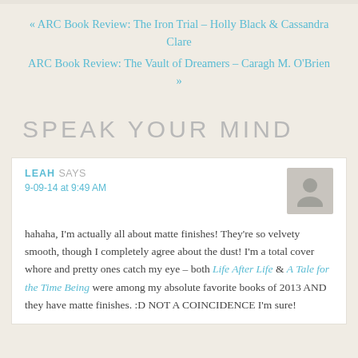« ARC Book Review: The Iron Trial – Holly Black & Cassandra Clare
ARC Book Review: The Vault of Dreamers – Caragh M. O'Brien »
SPEAK YOUR MIND
LEAH SAYS
9-09-14 at 9:49 AM
hahaha, I'm actually all about matte finishes! They're so velvety smooth, though I completely agree about the dust! I'm a total cover whore and pretty ones catch my eye – both Life After Life & A Tale for the Time Being were among my absolute favorite books of 2013 AND they have matte finishes. :D NOT A COINCIDENCE I'm sure!